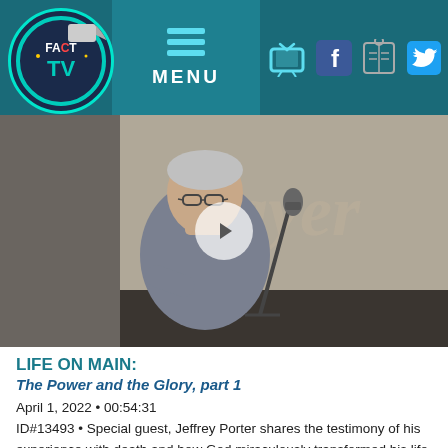FACT TV — Navigation bar with logo, MENU, TV icon, Facebook, Reading, Twitter, YouTube
[Figure (screenshot): Video thumbnail showing a man with grey hair and glasses leaning over a microphone at a podium, with the word 'Prayer' visible on a screen behind him. A circular play button is overlaid on the center of the image.]
LIFE ON MAIN:
The Power and the Glory, part 1
April 1, 2022 • 00:54:31
ID#13493 • Special guest, Jeffrey Porter shares the testimony of his experience with death and how God miraculously transformed his life as a result. Pastor Tim